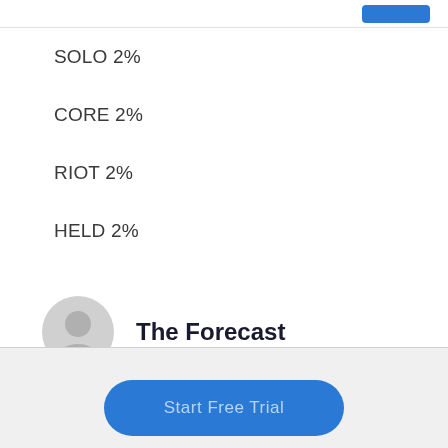SOLO 2%
CORE 2%
RIOT 2%
HELD 2%
The Forecast
Start Free Trial